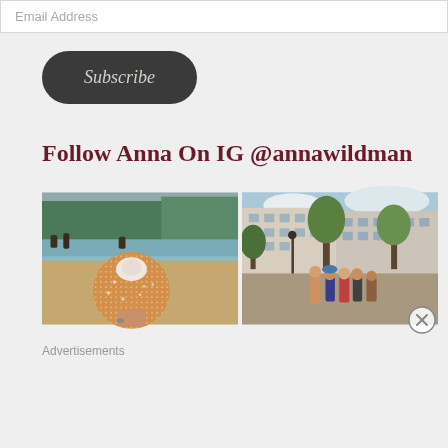Email Address
Subscribe
Follow Anna On IG @annawildman
[Figure (photo): Two side-by-side Instagram photos: left shows a hand holding a sugar-dusted pastry (choux/cream puff) in front of a fountain with people, right shows a Paris street scene with Haussmann-style buildings, trees, and people gathered outdoors.]
Advertisements